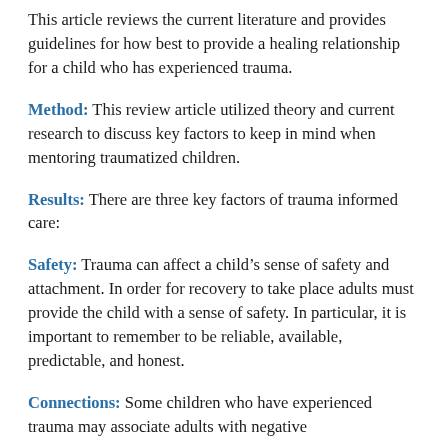This article reviews the current literature and provides guidelines for how best to provide a healing relationship for a child who has experienced trauma.
Method: This review article utilized theory and current research to discuss key factors to keep in mind when mentoring traumatized children.
Results: There are three key factors of trauma informed care:
Safety: Trauma can affect a child’s sense of safety and attachment. In order for recovery to take place adults must provide the child with a sense of safety. In particular, it is important to remember to be reliable, available, predictable, and honest.
Connections: Some children who have experienced trauma may associate adults with negative emotions. In order for recovery to take place, it is